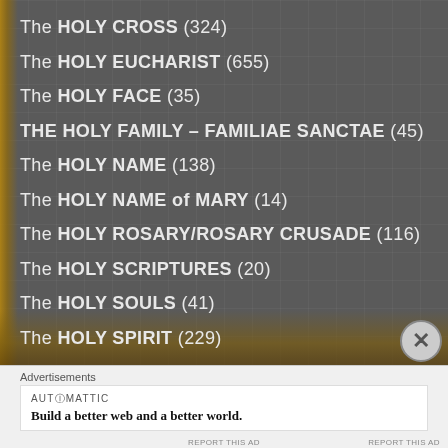The HOLY CROSS (324)
The HOLY EUCHARIST (655)
The HOLY FACE (35)
THE HOLY FAMILY – FAMILIAE SANCTAE (45)
The HOLY NAME (138)
The HOLY NAME of MARY (14)
The HOLY ROSARY/ROSARY CRUSADE (116)
The HOLY SCRIPTURES (20)
The HOLY SOULS (41)
The HOLY SPIRIT (229)
The HOLY TRINITY (120)
Advertisements
AUTOMATTIC
Build a better web and a better world.